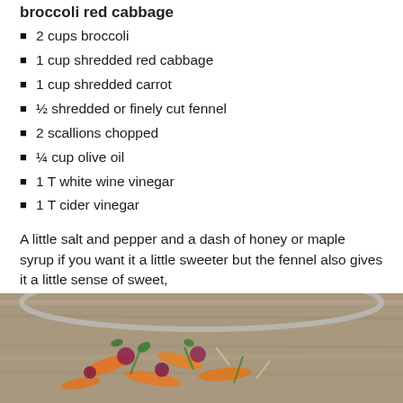broccoli red cabbage
2 cups broccoli
1 cup shredded red cabbage
1 cup shredded carrot
½ shredded or finely cut fennel
2 scallions chopped
¼ cup olive oil
1 T white wine vinegar
1 T cider vinegar
A little salt and pepper and a dash of honey or maple syrup if you want it a little sweeter but the fennel also gives it a little sense of sweet,
[Figure (photo): A colorful vegetable salad with shredded carrots, red cabbage, broccoli and other vegetables in a bowl on a wooden surface.]